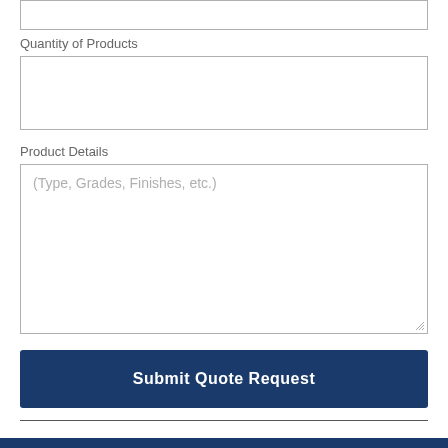Quantity of Products
Product Details
(Type, Grades, Finishes, etc.)
Submit Quote Request